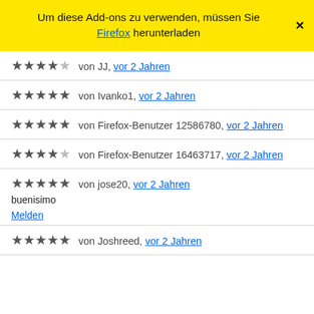Um diese Add-ons zu verwenden, müssen Sie Firefox herunterladen
★★★★☆ von JJ, vor 2 Jahren
★★★★★ von Ivanko1, vor 2 Jahren
★★★★★ von Firefox-Benutzer 12586780, vor 2 Jahren
★★★★☆ von Firefox-Benutzer 16463717, vor 2 Jahren
★★★★★ von jose20, vor 2 Jahren
buenisimo
Melden
★★★★★ von Joshreed, vor 2 Jahren